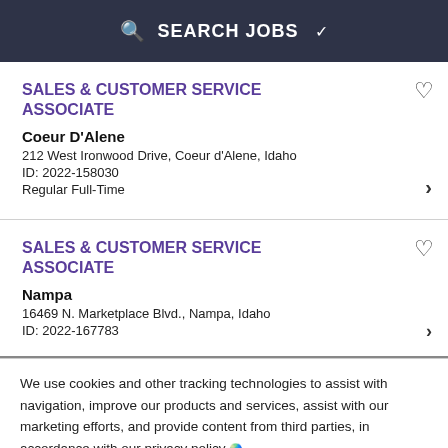SEARCH JOBS
SALES & CUSTOMER SERVICE ASSOCIATE
Coeur D'Alene
212 West Ironwood Drive, Coeur d'Alene, Idaho
ID: 2022-158030
Regular Full-Time
SALES & CUSTOMER SERVICE ASSOCIATE
Nampa
16469 N. Marketplace Blvd., Nampa, Idaho
ID: 2022-167783
We use cookies and other tracking technologies to assist with navigation, improve our products and services, assist with our marketing efforts, and provide content from third parties, in accordance with our privacy policy.
Close